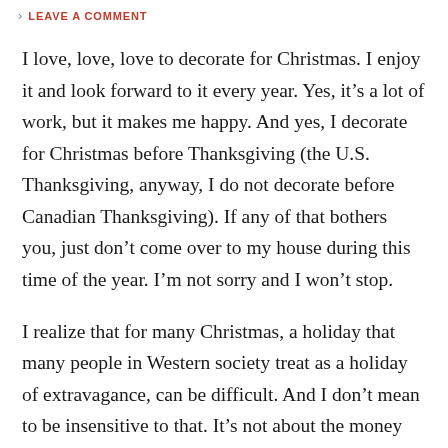LEAVE A COMMENT
I love, love, love to decorate for Christmas. I enjoy it and look forward to it every year. Yes, it’s a lot of work, but it makes me happy. And yes, I decorate for Christmas before Thanksgiving (the U.S. Thanksgiving, anyway, I do not decorate before Canadian Thanksgiving). If any of that bothers you, just don’t come over to my house during this time of the year. I’m not sorry and I won’t stop.
I realize that for many Christmas, a holiday that many people in Western society treat as a holiday of extravagance, can be difficult. And I don’t mean to be insensitive to that. It’s not about the money spent to me.